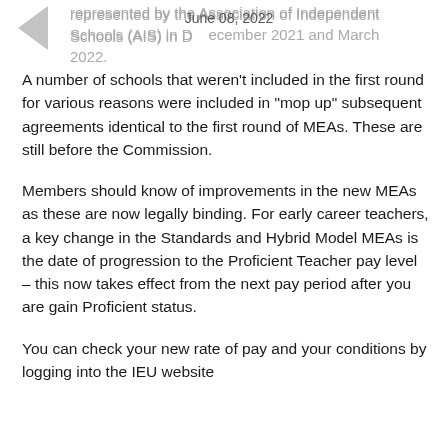June 08, 2022
represented by the Association of Independent Schools (AIS) in December 2021 and March 2022.
A number of schools that weren't included in the first round for various reasons were included in “mop up” subsequent agreements identical to the first round of MEAs. These are still before the Commission.
Members should know of improvements in the new MEAs as these are now legally binding. For early career teachers, a key change in the Standards and Hybrid Model MEAs is the date of progression to the Proficient Teacher pay level – this now takes effect from the next pay period after you are gain Proficient status.
You can check your new rate of pay and your conditions by logging into the IEU website